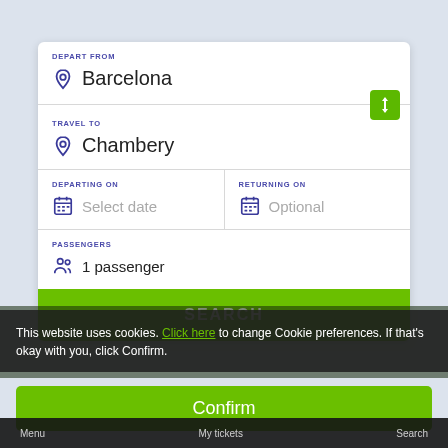[Figure (screenshot): Travel search form UI with fields for departure city (Barcelona), destination city (Chambery), departing date (Select date), returning date (Optional), and passengers (1 passenger), with a green Search button, a cookie consent bar, a Confirm button, and a bottom navigation bar.]